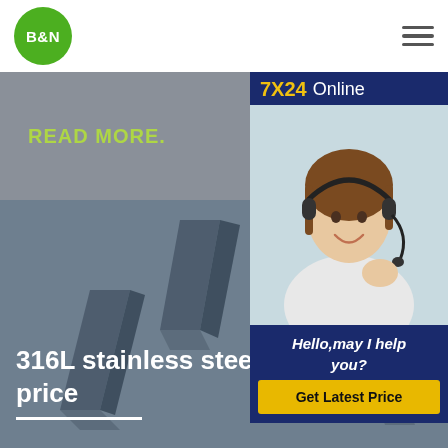[Figure (logo): B&N company logo — green circle with white bold text B&N]
[Figure (illustration): Hamburger menu icon — three horizontal dark lines]
READ MORE.
[Figure (photo): Customer service agent — woman with headset smiling, with 7X24 Online header, Hello may I help you? text, and Get Latest Price yellow button]
[Figure (photo): 316L stainless steel angle/channel section pieces arranged on gray background]
316L stainless steel cutting plate price